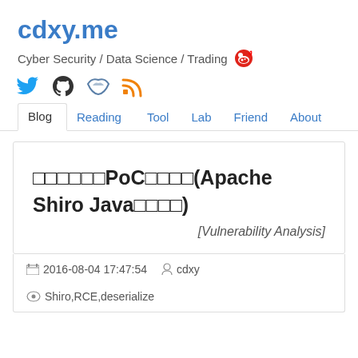cdxy.me
Cyber Security / Data Science / Trading
[Figure (other): Social media icons: Twitter, GitHub, unknown, RSS feed]
Blog | Reading | Tool | Lab | Friend | About
□□□□□□PoC□□□□(Apache Shiro Java□□□□)
[Vulnerability Analysis]
2016-08-04 17:47:54  cdxy  Shiro,RCE,deserialize